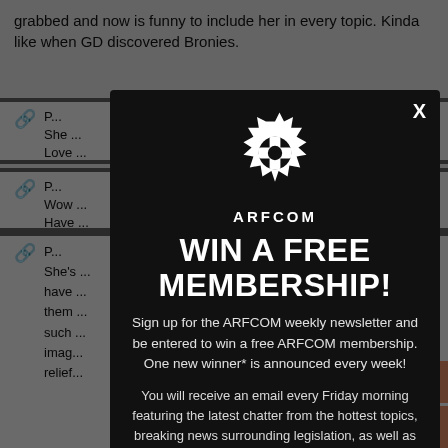grabbed and now is funny to include her in every topic. Kinda like when GD discovered Bronies.
She ... Love ...
Wow ... Have ...
She's ... have ... them ... such ... imag... relief...
[Figure (screenshot): ARFCOM modal popup with logo, headline 'WIN A FREE MEMBERSHIP!', subscription signup text, and email input field on dark background overlay.]